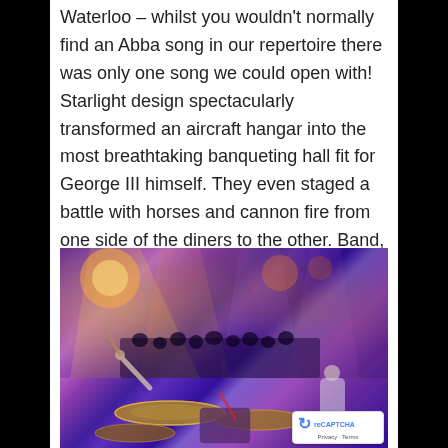This year's Festival Theme was The Battle of Waterloo – whilst you wouldn't normally find an Abba song in our repertoire there was only one song we could open with! Starlight design spectacularly transformed an aircraft hangar into the most breathtaking banqueting hall fit for George III himself. They even staged a battle with horses and cannon fire from one side of the diners to the other. Band, staff and guests were suitably attired, and the party was victorious!
[Figure (photo): Concert/band performance photo showing a drummer in the foreground with cymbals, stage lighting in purple and orange hues, and a crowd/orchestra in the background in a large venue.]